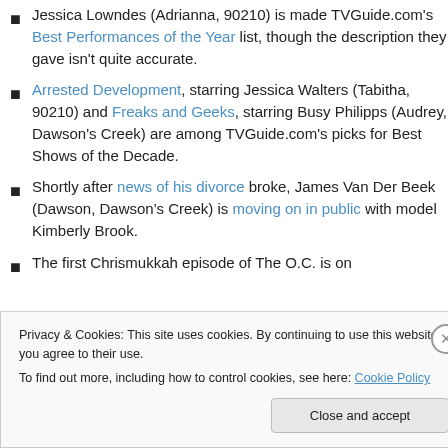Jessica Lowndes (Adrianna, 90210) is made TVGuide.com's Best Performances of the Year list, though the description they gave isn't quite accurate.
Arrested Development, starring Jessica Walters (Tabitha, 90210) and Freaks and Geeks, starring Busy Philipps (Audrey, Dawson's Creek) are among TVGuide.com's picks for Best Shows of the Decade.
Shortly after news of his divorce broke, James Van Der Beek (Dawson, Dawson's Creek) is moving on in public with model Kimberly Brook.
The first Chrismukkah episode of The O.C. is on
Privacy & Cookies: This site uses cookies. By continuing to use this website, you agree to their use. To find out more, including how to control cookies, see here: Cookie Policy